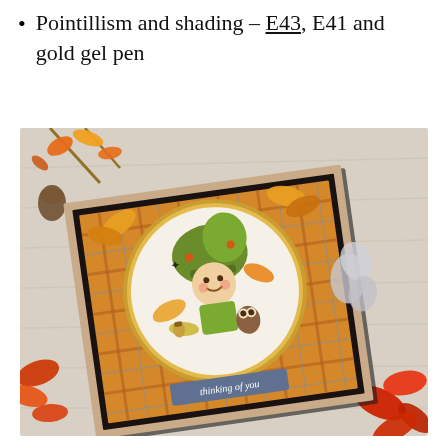Pointillism and shading – E43, E41 and gold gel pen
[Figure (photo): A handmade greeting card with autumn theme, featuring a cute illustrated child character wearing a green hat, surrounded by autumn leaves and acorns, displayed on a plaid patterned background with a gold circular die-cut frame and a 'thinking of you' sentiment banner. The card is photographed on a white wood surface with real autumn leaves and foliage around it.]